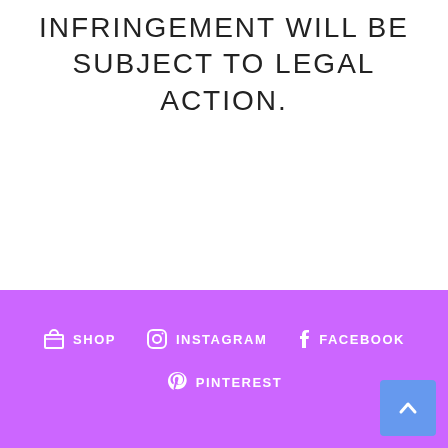INFRINGEMENT WILL BE SUBJECT TO LEGAL ACTION.
SHOP  INSTAGRAM  FACEBOOK  PINTEREST